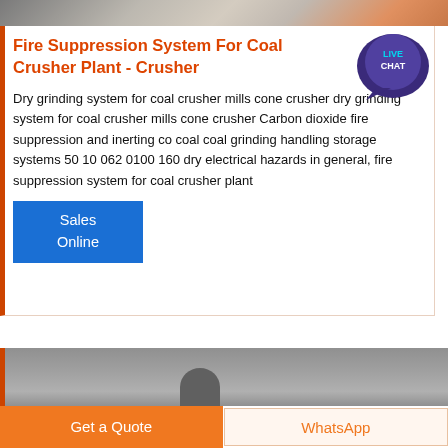[Figure (photo): Top portion of an industrial coal crusher plant scene — workers/equipment visible at top of page]
Fire Suppression System For Coal Crusher Plant - Crusher
Dry grinding system for coal crusher mills cone crusher dry grinding system for coal crusher mills cone crusher Carbon dioxide fire suppression and inerting co coal coal grinding handling storage systems 50 10 062 0100 160 dry electrical hazards in general, fire suppression system for coal crusher plant
Sales Online
[Figure (photo): Bottom portion of an industrial scene, partially visible — gray/dark industrial equipment]
Get a Quote
WhatsApp